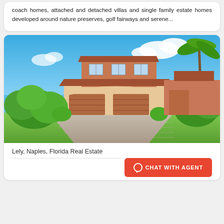coach homes, attached and detached villas and single family estate homes developed around nature preserves, golf fairways and serene...
[Figure (photo): Exterior photo of a two-story Mediterranean-style home in Naples, Florida, with terracotta roof tiles, beige stucco facade, brick-paver driveway, double garage doors, and lush green landscaping under a blue sky with clouds.]
Lely, Naples, Florida Real Estate
CHAT WITH AGENT